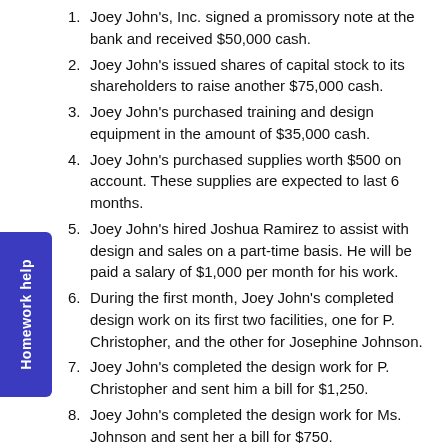1. Joey John's, Inc. signed a promissory note at the bank and received $50,000 cash.
2. Joey John's issued shares of capital stock to its shareholders to raise another $75,000 cash.
3. Joey John's purchased training and design equipment in the amount of $35,000 cash.
4. Joey John's purchased supplies worth $500 on account. These supplies are expected to last 6 months.
5. Joey John's hired Joshua Ramirez to assist with design and sales on a part-time basis. He will be paid a salary of $1,000 per month for his work.
6. During the first month, Joey John's completed design work on its first two facilities, one for P. Christopher, and the other for Josephine Johnson.
7. Joey John's completed the design work for P. Christopher and sent him a bill for $1,250.
8. Joey John's completed the design work for Ms. Johnson and sent her a bill for $750.
9. Joey John's collected half of the money ($625) in cash